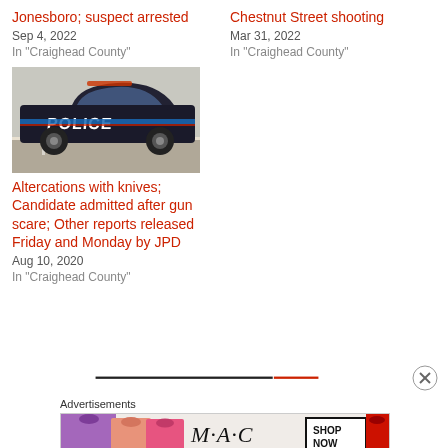Jonesboro; suspect arrested
Sep 4, 2022
In "Craighead County"
Chestnut Street shooting
Mar 31, 2022
In "Craighead County"
[Figure (photo): Police car with POLICE text on side]
Altercations with knives; Candidate admitted after gun scare; Other reports released Friday and Monday by JPD
Aug 10, 2020
In "Craighead County"
[Figure (infographic): Advertisement bar with close button and MAC cosmetics banner ad]
Advertisements